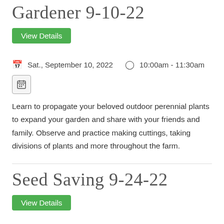Gardener 9-10-22
View Details
Sat., September 10, 2022   10:00am - 11:30am
Learn to propagate your beloved outdoor perennial plants to expand your garden and share with your friends and family. Observe and practice making cuttings, taking divisions of plants and more throughout the farm.
Seed Saving 9-24-22
View Details
Sat., September 24, 2022   9:00am - 11:30am
Learn how to save seeds from your favorite crops. We will discuss the importance of seed saving, how to care for the plants to